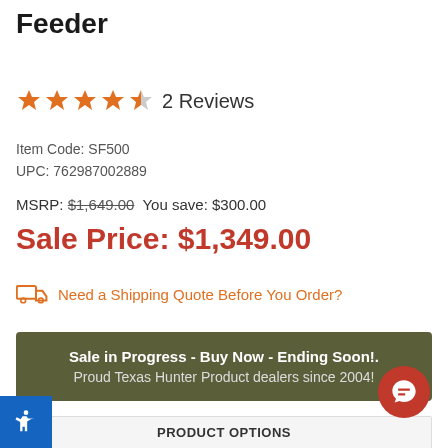Stand and Fill Directional Deer Feeder
★★★★½  2 Reviews
Item Code: SF500
UPC: 762987002889
MSRP: $1,649.00  You save: $300.00
Sale Price: $1,349.00
Need a Shipping Quote Before You Order?
Sale in Progress - Buy Now - Ending Soon!.
Proud Texas Hunter Product dealers since 2004!
PRODUCT OPTIONS